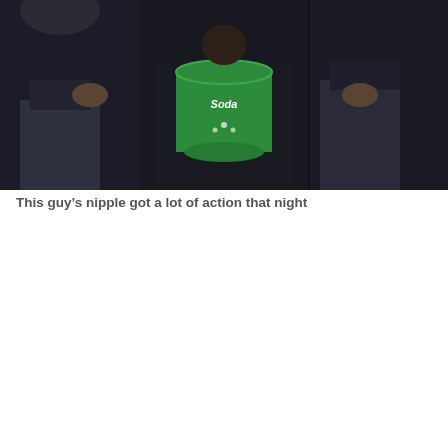[Figure (photo): A photo of people in a dark venue. A person in the center is holding a green cup/container with a logo on it. Other people visible on the left and right sides, dimly lit background.]
This guy's nipple got a lot of action that night